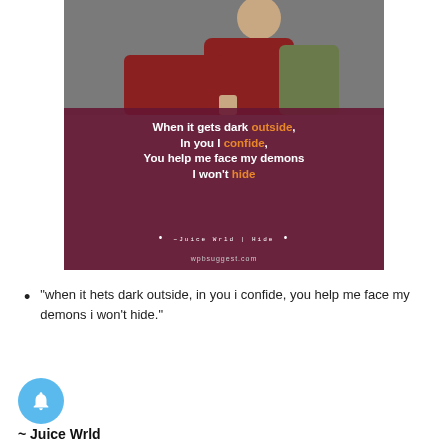[Figure (illustration): Quote image with a photo of a young man in a red jacket against a gray background. A dark maroon overlay contains the text: 'When it gets dark outside, In you I confide, You help me face my demons I won't hide' with 'outside', 'confide', and 'hide' highlighted in orange. Attribution reads '~Juice Wrld | Hide' and 'wpbsuggest.com' at the bottom.]
“when it hets dark outside, in you i confide, you help me face my demons i won’t hide.”
~ Juice Wrld